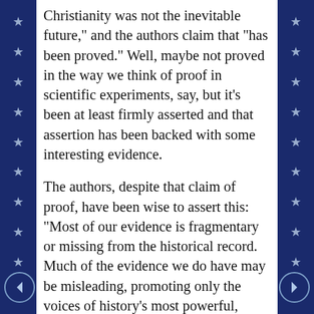Christianity was not the inevitable future," and the authors claim that "has been proved." Well, maybe not proved in the way we think of proof in scientific experiments, say, but it's been at least firmly asserted and that assertion has been backed with some interesting evidence.
The authors, despite that claim of proof, have been wise to assert this: "Most of our evidence is fragmentary or missing from the historical record. Much of the evidence we do have may be misleading, promoting only the voices of history's most powerful, those in a position to say whose voices are heard and whose should be silenced."
The interesting picture that emerges here is of two centuries of figuring out what the life